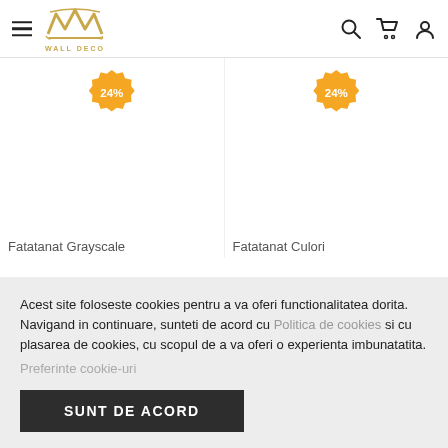[Figure (logo): Wall Deco logo with stylized W crown icon and text WALL DECO in gold]
[Figure (infographic): Two product cards with 24% discount badges; product titles partially visible: Fatatanat Grayscale and Fatatanat Culori]
Acest site foloseste cookies pentru a va oferi functionalitatea dorita. Navigand in continuare, sunteti de acord cu Politica de cookies si cu plasarea de cookies, cu scopul de a va oferi o experienta imbunatatita.
Preferinte cookie-uri
SUNT DE ACORD